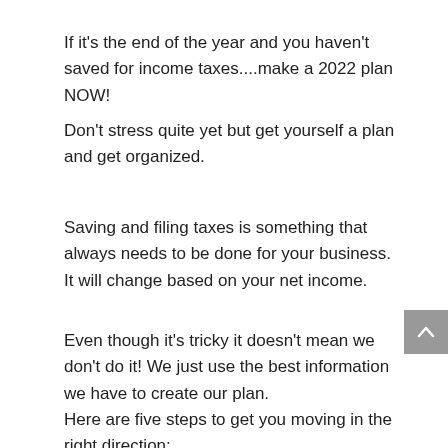If it's the end of the year and you haven't saved for income taxes....make a 2022 plan NOW!
Don't stress quite yet but get yourself a plan and get organized.
Saving and filing taxes is something that always needs to be done for your business.  It will change based on your net income.
Even though it's tricky it doesn't mean we don't do it! We just use the best information we have to create our plan. Here are five steps to get you moving in the right direction: